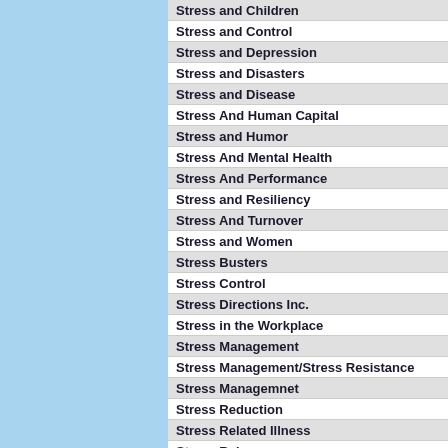Stress and Children
Stress and Control
Stress and Depression
Stress and Disasters
Stress and Disease
Stress And Human Capital
Stress and Humor
Stress And Mental Health
Stress And Performance
Stress and Resiliency
Stress And Turnover
Stress and Women
Stress Busters
Stress Control
Stress Directions Inc.
Stress in the Workplace
Stress Management
Stress Management/Stress Resistance
Stress Managemnet
Stress Reduction
Stress Related Illness
Stress Rel...